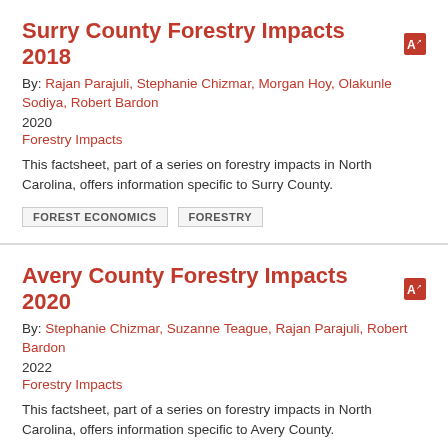Surry County Forestry Impacts 2018
By: Rajan Parajuli, Stephanie Chizmar, Morgan Hoy, Olakunle Sodiya, Robert Bardon
2020
Forestry Impacts
This factsheet, part of a series on forestry impacts in North Carolina, offers information specific to Surry County.
FOREST ECONOMICS
FORESTRY
Avery County Forestry Impacts 2020
By: Stephanie Chizmar, Suzanne Teague, Rajan Parajuli, Robert Bardon
2022
Forestry Impacts
This factsheet, part of a series on forestry impacts in North Carolina, offers information specific to Avery County.
FOREST ECONOMICS
FORESTRY